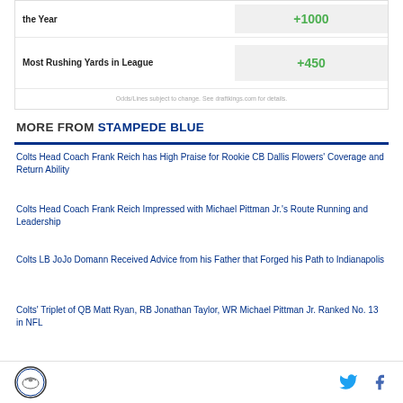| Category | Odds |
| --- | --- |
| the Year | +1000 |
| Most Rushing Yards in League | +450 |
Odds/Lines subject to change. See draftkings.com for details.
MORE FROM STAMPEDE BLUE
Colts Head Coach Frank Reich has High Praise for Rookie CB Dallis Flowers' Coverage and Return Ability
Colts Head Coach Frank Reich Impressed with Michael Pittman Jr.'s Route Running and Leadership
Colts LB JoJo Domann Received Advice from his Father that Forged his Path to Indianapolis
Colts' Triplet of QB Matt Ryan, RB Jonathan Taylor, WR Michael Pittman Jr. Ranked No. 13 in NFL